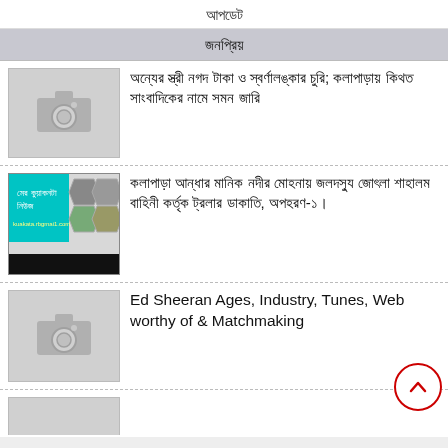আপডেট
জনপ্রিয়
[Figure (photo): Placeholder thumbnail with camera icon]
অন্যের স্ত্রী নগদ টাকা ও স্বর্ণালঙ্কার চুরি; কলাপাড়ায় কিথত সাংবাদিকের নামে সমন জারি
[Figure (photo): News thumbnail showing teal branded graphic with collage of images]
কলাপাড়া আন্ধার মানিক নদীর মোহনায় জলদস্যু জোৎলা শাহালম বাহিনী কর্তৃক ট্রলার ডাকাতি, অপহরণ-১।
[Figure (photo): Placeholder thumbnail with camera icon]
Ed Sheeran Ages, Industry, Tunes, Web worthy of & Matchmaking
[Figure (photo): Partial thumbnail visible at bottom]
প্রধান উপদেষ্টা:- সাবেক আইজিপি এম এ খালেক, বিশেষ উপদেষ্টা: শাহিয় বেড়া, সম্পাদক:- হাবিবলাহ খান বাবী